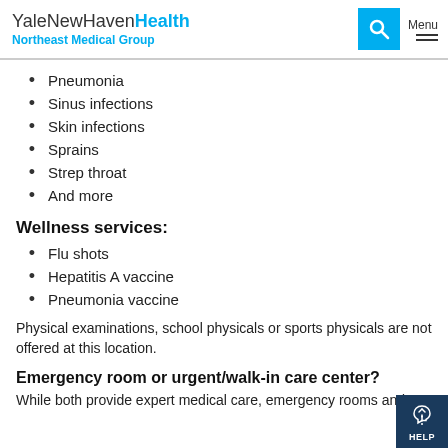YaleNewHavenHealth Northeast Medical Group
Pneumonia
Sinus infections
Skin infections
Sprains
Strep throat
And more
Wellness services:
Flu shots
Hepatitis A vaccine
Pneumonia vaccine
Physical examinations, school physicals or sports physicals are not offered at this location.
Emergency room or urgent/walk-in care center?
While both provide expert medical care, emergency rooms and